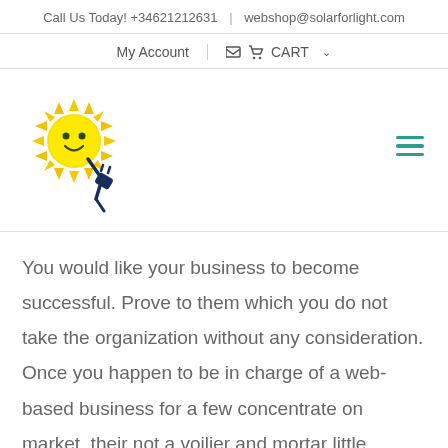Call Us Today! +34621212631  |  webshop@solarforlight.com
My Account   🛒 CART ∨
[Figure (logo): Solar for light logo: a cartoon sun with a smiling face holding an electrical plug, yellow sun with spiky rays, dark navy plug and cord]
You would like your business to become successful. Prove to them which you do not take the organization without any consideration. Once you happen to be in charge of a web-based business for a few concentrate on market, their not a voilier and mortar little business meaning you're capable to manage it coming from anywhere.